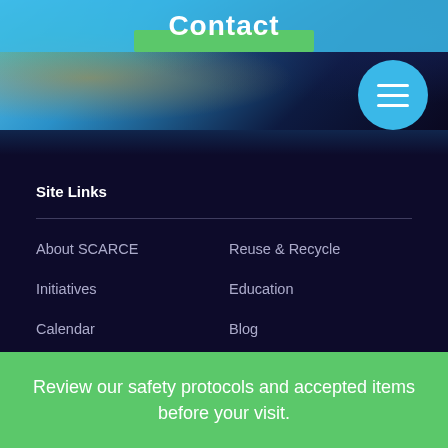Contact
Site Links
About SCARCE
Reuse & Recycle
Initiatives
Education
Calendar
Blog
Contact
Review our safety protocols and accepted items before your visit.